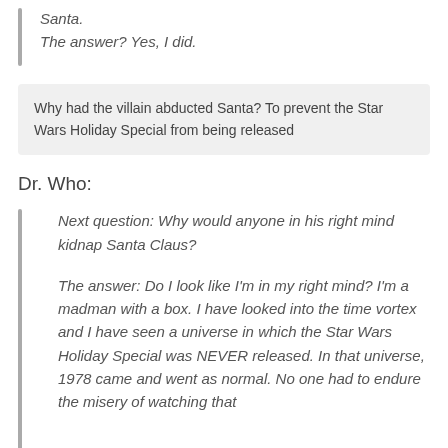Santa.
The answer? Yes, I did.
Why had the villain abducted Santa? To prevent the Star Wars Holiday Special from being released
Dr. Who:
Next question: Why would anyone in his right mind kidnap Santa Claus?
The answer: Do I look like I'm in my right mind? I'm a madman with a box. I have looked into the time vortex and I have seen a universe in which the Star Wars Holiday Special was NEVER released. In that universe, 1978 came and went as normal. No one had to endure the misery of watching that